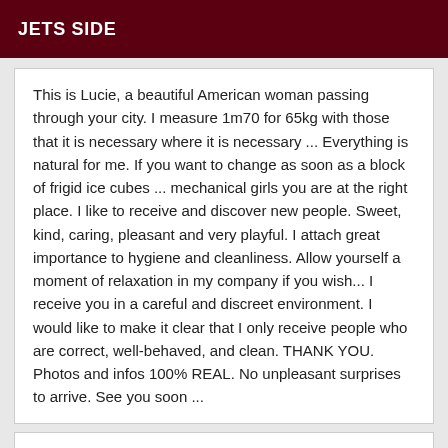JETS SIDE
This is Lucie, a beautiful American woman passing through your city. I measure 1m70 for 65kg with those that it is necessary where it is necessary ... Everything is natural for me. If you want to change as soon as a block of frigid ice cubes ... mechanical girls you are at the right place. I like to receive and discover new people. Sweet, kind, caring, pleasant and very playful. I attach great importance to hygiene and cleanliness. Allow yourself a moment of relaxation in my company if you wish... I receive you in a careful and discreet environment. I would like to make it clear that I only receive people who are correct, well-behaved, and clean. THANK YOU. Photos and infos 100% REAL. No unpleasant surprises to arrive. See you soon ...